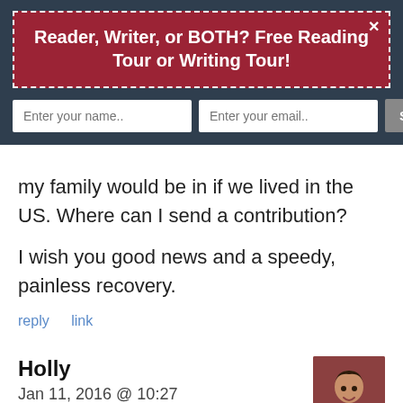Reader, Writer, or BOTH? Free Reading Tour or Writing Tour!
my family would be in if we lived in the US. Where can I send a contribution?
I wish you good news and a speedy, painless recovery.
reply   link
Holly
Jan 11, 2016 @ 10:27
[Figure (photo): Avatar photo of Holly – woman with dark hair smiling]
Support me